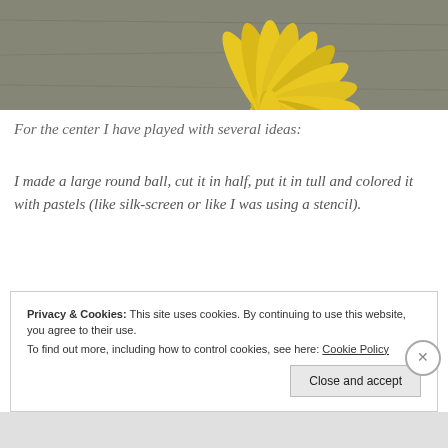[Figure (photo): Top portion of a yellow daisy/sunflower against a grey textured background, showing petals from above]
For the center I have played with several ideas:
I made a large round ball, cut it in half, put it in tull and colored it with pastels (like silk-screen or like I was using a stencil).
Privacy & Cookies: This site uses cookies. By continuing to use this website, you agree to their use.
To find out more, including how to control cookies, see here: Cookie Policy
Close and accept